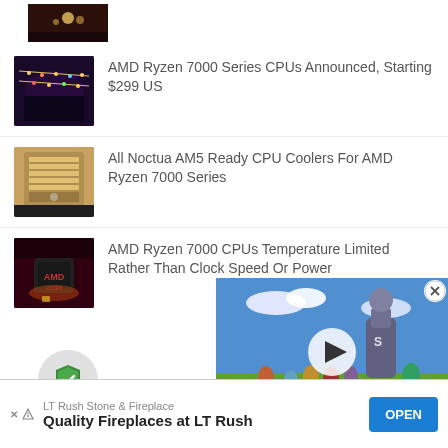[Figure (photo): Partial top thumbnail image showing dark warm-toned scene]
AMD Ryzen 7000 Series CPUs Announced, Starting $299 US
All Noctua AM5 Ready CPU Coolers For AMD Ryzen 7000 Series
AMD Ryzen 7000 CPUs Temperature Limited Rather Than Clock Speed Or Power
[Figure (screenshot): Video player overlay showing animated movie with play button and close X button]
[Figure (illustration): Shield security icon in circular gray badge]
LT Rush Stone & Fireplace
Quality Fireplaces at LT Rush  OPEN